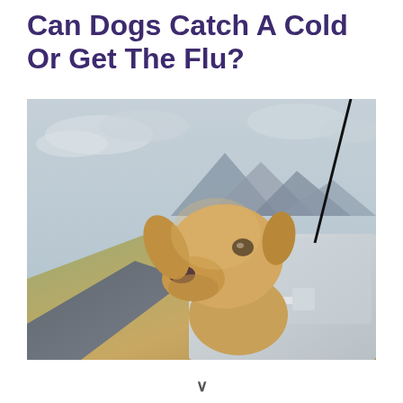Can Dogs Catch A Cold Or Get The Flu?
[Figure (photo): A golden/yellow Labrador dog sticking its head out of a car window, with mountains and overcast sky in the background.]